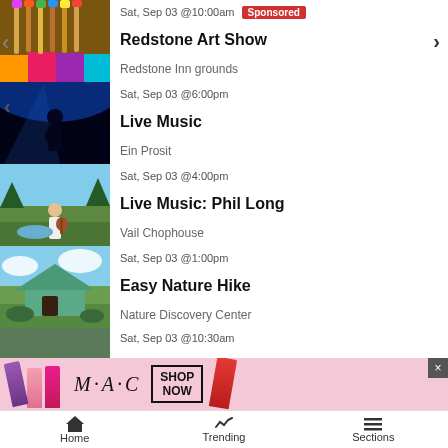Sat, Sep 03 @10:00am [Sponsored] — Redstone Art Show — Redstone Inn grounds
Sat, Sep 03 @6:00pm — Live Music — Ein Prosit
Sat, Sep 03 @4:00pm — Live Music: Phil Long — Vail Chophouse
Sat, Sep 03 @1:00pm — Easy Nature Hike — Nature Discovery Center
Sat, Sep 03 @10:30am (partial)
[Figure (screenshot): MAC cosmetics advertisement with lipsticks and SHOP NOW button]
Home | Trending | Sections